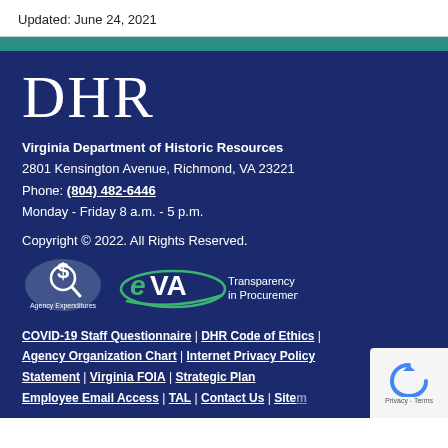Updated: June 24, 2021
[Figure (logo): DHR logo text and teal stripe separator]
Virginia Department of Historic Resources
2801 Kensington Avenue, Richmond, VA 23221
Phone: (804) 482-6446
Monday - Friday 8 a.m. - 5 p.m.
Copyright © 2022. All Rights Reserved.
[Figure (logo): Agency Expenditures badge with magnifying glass and dollar sign over Virginia state outline]
[Figure (logo): eVA Transparency in Procurement logo]
COVID-19 Staff Questionnaire | DHR Code of Ethics | Agency Organization Chart | Internet Privacy Policy Statement | Virginia FOIA | Strategic Plan Employee Email Access | TAL | Contact Us | Sitemap